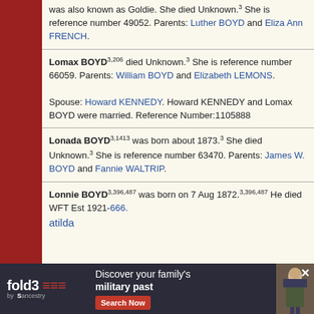was also known as Goldie. She died Unknown.³ She is reference number 49052. Parents: Luther BOYD and Eliza Ann FRENCH.
Lomax BOYD³'²⁰⁶ died Unknown.³ She is reference number 66059. Parents: William BOYD and Elizabeth LEMONS. Spouse: Howard KENNEDY. Howard KENNEDY and Lomax BOYD were married. Reference Number:1105888
Lonada BOYD³'¹⁴¹³ was born about 1873.³ She died Unknown.³ She is reference number 63470. Parents: James W. BOYD and Fannie WALTRIP.
Lonnie BOYD³'³⁹⁶'⁴⁸⁷ was born on 7 Aug 1872.³'³⁹⁶'⁴⁸⁷ He died WFT Est 1921-666. ... atilda
[Figure (screenshot): Fold3 by Ancestry advertisement banner: 'Discover your family's military past' with Search Now button and soldier image]